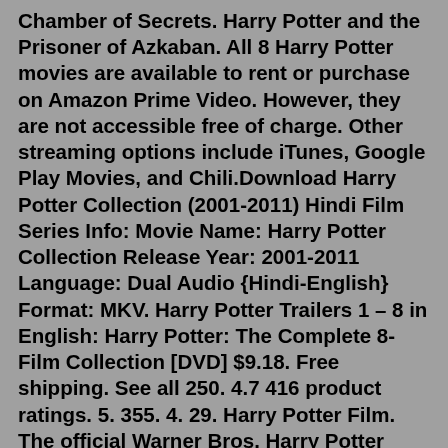Chamber of Secrets. Harry Potter and the Prisoner of Azkaban. All 8 Harry Potter movies are available to rent or purchase on Amazon Prime Video. However, they are not accessible free of charge. Other streaming options include iTunes, Google Play Movies, and Chili.Download Harry Potter Collection (2001-2011) Hindi Film Series Info: Movie Name: Harry Potter Collection Release Year: 2001-2011 Language: Dual Audio {Hindi-English} Format: MKV. Harry Potter Trailers 1 – 8 in English: Harry Potter: The Complete 8-Film Collection [DVD] $9.18. Free shipping. See all 250. 4.7 416 product ratings. 5. 355. 4. 29. Harry Potter Film. The official Warner Bros. Harry Potter Film Instagram account. wizarding.world/HarryPotterLinks.Aug 19, 2021 · A new collection of the Harry Potter movies in 4K is up for preorder, and it looks pretty great. Called the Harry Potter and the Sorcerer's Stone Anniversary 8-Film Collector's Edition (see it at ... Movie Info. A clash between good and evil awaits as young Harry